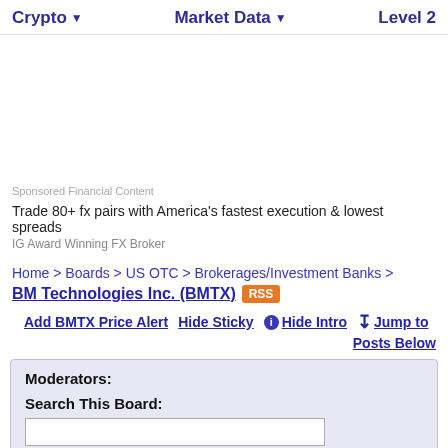Crypto  Market Data  Level 2
Sponsored Financial Content
Trade 80+ fx pairs with America's fastest execution & lowest spreads
IG Award Winning FX Broker
Home > Boards > US OTC > Brokerages/Investment Banks >
BM Technologies Inc. (BMTX) RSS
Add BMTX Price Alert  Hide Sticky  Hide Intro  Jump to Posts Below
| Moderators: |
| Search This Board: |
| [input] |
| 2022 v  GO |
| Created: 06/17/2020 |